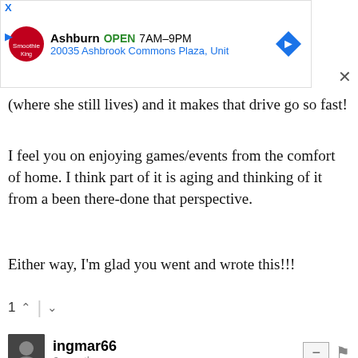[Figure (screenshot): Advertisement banner: Smoothie King, Ashburn OPEN 7AM-9PM, 20035 Ashbrook Commons Plaza, Unit, with navigation arrow icon]
(where she still lives) and it makes that drive go so fast!
I feel you on enjoying games/events from the comfort of home. I think part of it is aging and thinking of it from a been there-done that perspective.
Either way, I'm glad you went and wrote this!!!
1 ^ | v
ingmar66
6 months ago
I totally empathize with your description of post pandemic alienation from public events like a hockey game, your deep sense of loss and you being torn between stay in, keep the evil world out and mourn or go out and enjoy things and events like you used to. Very well written piece that brought me right back. Thank you for sharing this deeply personal account with all of us. Touching, sincere and informative.
[Figure (screenshot): Disney Bundle advertisement banner: hulu, Disney+, ESPN+, GET THE DISNEY BUNDLE]